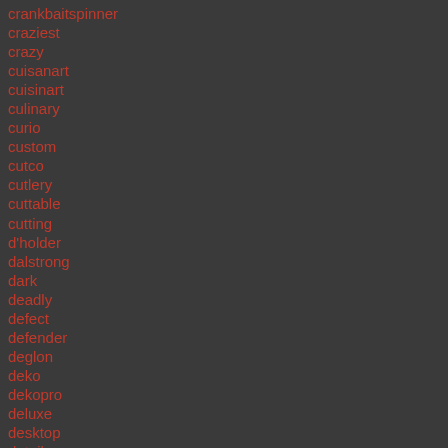crankbaitspinner
craziest
crazy
cuisanart
cuisinart
culinary
curio
custom
cutco
cutlery
cuttable
cutting
d'holder
dalstrong
dark
deadly
defect
defender
deglon
deko
dekopro
deluxe
desktop
details
dexter
dfackto